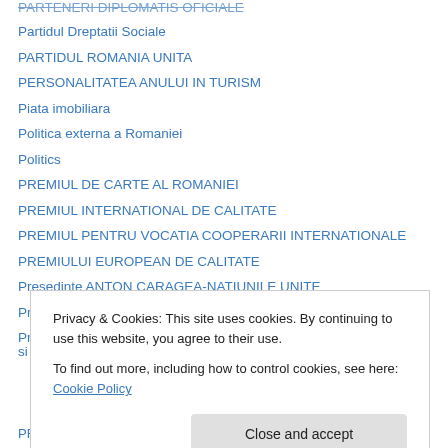PARTENERI DIPLOMATIS OFICIALE
Partidul Dreptatii Sociale
PARTIDUL ROMANIA UNITA
PERSONALITATEA ANULUI IN TURISM
Piata imobiliara
Politica externa a Romaniei
Politics
PREMIUL DE CARTE AL ROMANIEI
PREMIUL INTERNATIONAL DE CALITATE
PREMIUL PENTRU VOCATIA COOPERARII INTERNATIONALE
PREMIULUI EUROPEAN DE CALITATE
Presedinte ANTON CARAGEA-NATIUNILE UNITE
Presedinte Marian Vanghelie
Presedintele Director General al Institutului de Relatii Internationale si
Privacy & Cookies: This site uses cookies. By continuing to use this website, you agree to their use. To find out more, including how to control cookies, see here: Cookie Policy
PRESIDENT DONALD'S TRUMP